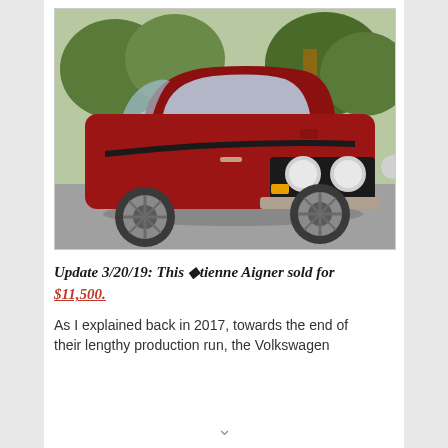[Figure (photo): A red Volkswagen Golf / Rabbit hatchback (Etienne Aigner edition) photographed in a parking lot with trees in the background. The car has round fog lights on the front grille, custom alloy wheels, and a decorative stripe along the side.]
Update 3/20/19: This ◆tienne Aigner sold for $11,500.
As I explained back in 2017, towards the end of their lengthy production run, the Volkswagen